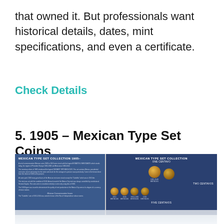that owned it. But professionals want historical details, dates, mint specifications, and even a certificate.
Check Details
5. 1905 – Mexican Type Set Coins
[Figure (photo): Two-page spread of a Mexican Type Set Collection 1905 book/album. Left page shows text describing the collection. Right page shows blue background with coin holders containing Mexican coins labeled ONE CENTAVO and TWO CENTAVOS with various dates.]